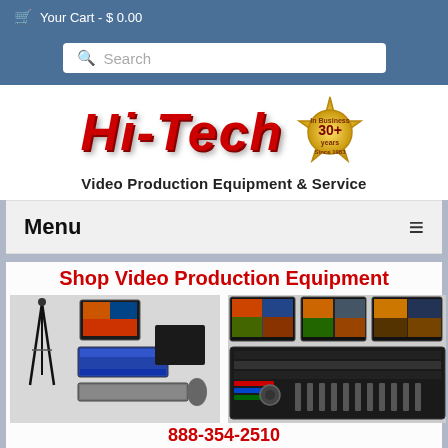Your Cart - $0.00
[Figure (screenshot): Search bar with magnifying glass icon and Search placeholder text]
[Figure (logo): Hi-Tech logo in red 3D lettering with '30+ years In Business Since 1983' gold badge]
Video Production Equipment & Service
Menu
Shop Video Production Equipment
[Figure (photo): Collage of video production equipment: tripods, monitors, switchers, cameras, PTZ cameras, production consoles, video monitors, and broadcast equipment. Phone number 888-354-2510 overlaid in red.]